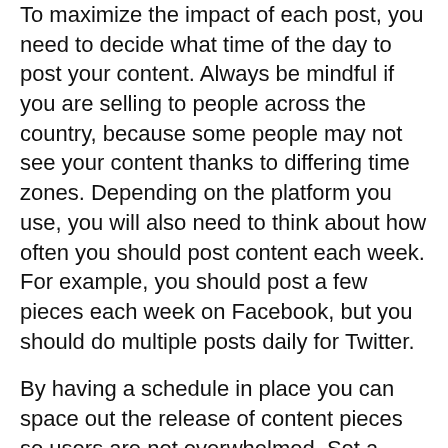To maximize the impact of each post, you need to decide what time of the day to post your content. Always be mindful if you are selling to people across the country, because some people may not see your content thanks to differing time zones. Depending on the platform you use, you will also need to think about how often you should post content each week. For example, you should post a few pieces each week on Facebook, but you should do multiple posts daily for Twitter.
By having a schedule in place you can space out the release of content pieces so users are not overwhelmed. Set a calendar somewhere so you can remind yourself when you should be uploading certain pieces of content.
Hopefully, the methods above can get started with